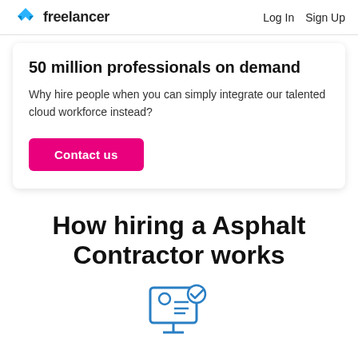Freelancer  Log In  Sign Up
50 million professionals on demand
Why hire people when you can simply integrate our talented cloud workforce instead?
Contact us
How hiring a Asphalt Contractor works
[Figure (illustration): Icon of a computer monitor displaying a person profile card with a blue checkmark badge, rendered in blue outline style]